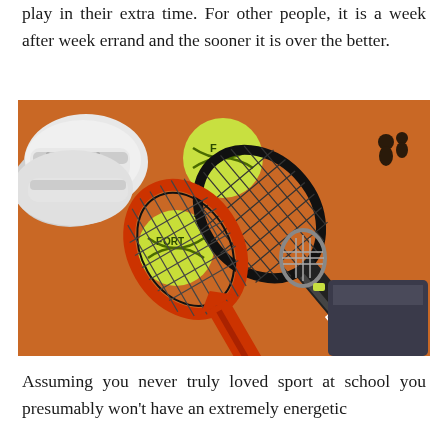play in their extra time. For other people, it is a week after week errand and the sooner it is over the better.
[Figure (photo): Photo of tennis equipment on an orange background: two tennis rackets (one black, one orange/black), three yellow-green tennis balls, and a pair of white tennis shoes.]
Assuming you never truly loved sport at school you presumably won't have an extremely energetic